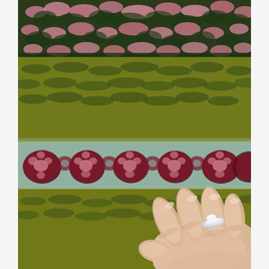[Figure (photo): Close-up photograph of a colorful Fair Isle / stranded knitting pattern on what appears to be a hat or sweater. The knitting shows bands of color: olive/mustard yellow, dark green, pink and burgundy floral motifs on a light sage/seafoam background band, and a top band of pink and green variegated yarn. A hand with a silver ring is visible in the lower right corner, holding the knitted item.]